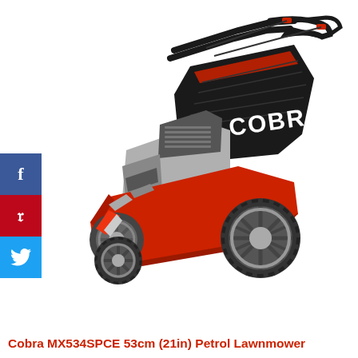[Figure (photo): Cobra MX534SPCE 53cm (21in) petrol lawnmower shown at an angle, featuring a red deck, black grass bag with COBRA branding, silver engine, black handlebar with red levers, and large spoke wheels. White background.]
Cobra MX534SPCE 53cm (21in) Petrol Lawnmower